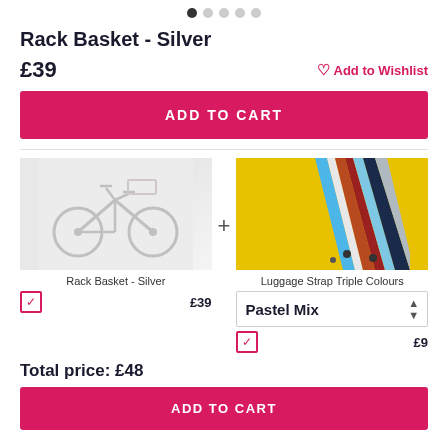[Figure (other): Pagination dots, first dot active, four inactive dots]
Rack Basket - Silver
£39
♡ Add to Wishlist
ADD TO CART
[Figure (photo): Faded/greyed out photo of a bicycle with a rack basket, light tones]
[Figure (photo): Photo of multiple colourful luggage straps fanned out on a yellow background]
Rack Basket - Silver
Luggage Strap Triple Colours
£39
Pastel Mix
£9
Total price:  £48